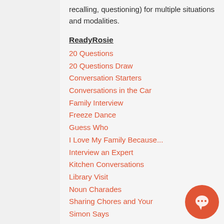recalling, questioning) for multiple situations and modalities.
ReadyRosie
20 Questions
20 Questions Draw
Conversation Starters
Conversations in the Car
Family Interview
Freeze Dance
Guess Who
I Love My Family Because...
Interview an Expert
Kitchen Conversations
Library Visit
Noun Charades
Sharing Chores and Your
Simon Says